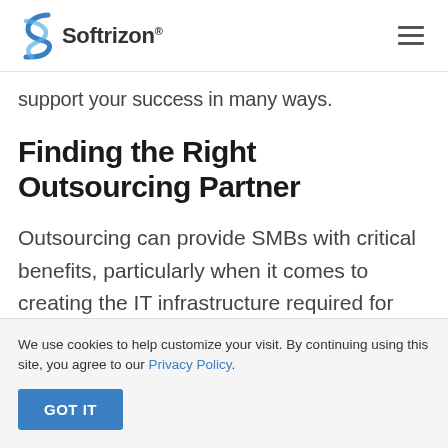Softrizon
support your success in many ways.
Finding the Right Outsourcing Partner
Outsourcing can provide SMBs with critical benefits, particularly when it comes to creating the IT infrastructure required for
We use cookies to help customize your visit. By continuing using this site, you agree to our Privacy Policy.
GOT IT